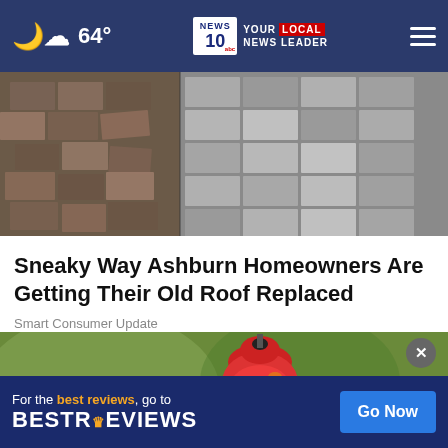64° | NEWS 10 abc YOUR LOCAL NEWS LEADER
[Figure (photo): Aerial view of old damaged roof shingles, showing deteriorated and broken tiles]
Sneaky Way Ashburn Homeowners Are Getting Their Old Roof Replaced
Smart Consumer Update
[Figure (photo): Hummingbird flying near a red ornate hummingbird feeder against green background]
For the best reviews, go to BESTREVIEWS  Go Now